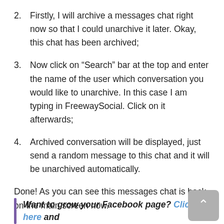2. Firstly, I will archive a messages chat right now so that I could unarchive it later. Okay, this chat has been archived;
3. Now click on “Search” bar at the top and enter the name of the user which conversation you would like to unarchive. In this case I am typing in FreewaySocial. Click on it afterwards;
4. Archived conversation will be displayed, just send a random message to this chat and it will be unarchived automatically.
Done! As you can see this messages chat is back on the main screen now.
Want to grow your Facebook page? Click here and